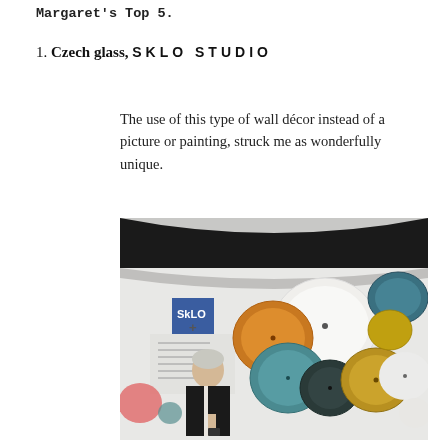Margaret's Top 5.
1. Czech glass, SKLO STUDIO
The use of this type of wall décor instead of a picture or painting, struck me as wonderfully unique.
[Figure (photo): Exhibition display of SKLO Studio Czech glass discs mounted on a white wall in various colors (white, amber, teal, dark teal, gold), with a SkLO branded sign visible. A man in a dark vest stands in the foreground looking at his phone.]